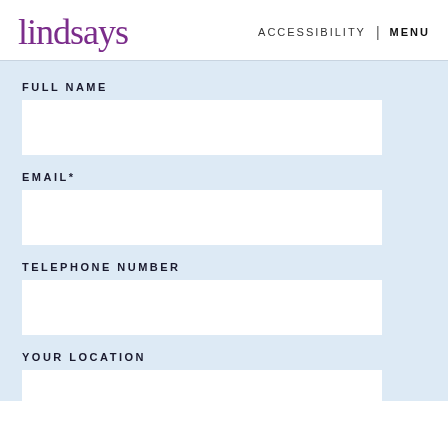lindsays
ACCESSIBILITY | MENU
FULL NAME
EMAIL*
TELEPHONE NUMBER
YOUR LOCATION